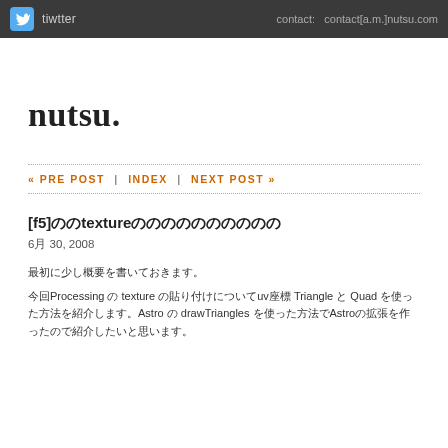tiwtter   contact:   contact[a.m.]nutsu.com
nutsu.
« PRE POST | INDEX | NEXT POST »
[f5]のtextureの貼り付けについて
6月 30, 2008
最初に少し概要を書いておきます。
今回Processing の texture の貼り付けについてuv座標 Triangle と Quad を使った方法を紹介します。Astro の drawTriangles を使った方法でAstroの拡張を作ったので紹介したいと思います。